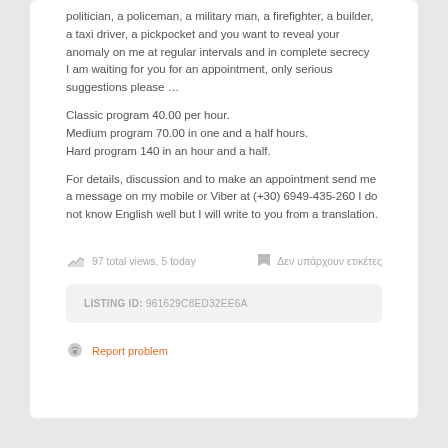politician, a policeman, a military man, a firefighter, a builder, a taxi driver, a pickpocket and you want to reveal your anomaly on me at regular intervals and in complete secrecy
I am waiting for you for an appointment, only serious suggestions please …
Classic program 40.00 per hour.
Medium program 70.00 in one and a half hours.
Hard program 140 in an hour and a half.
For details, discussion and to make an appointment send me a message on my mobile or Viber at (+30) 6949-435-260 I do not know English well but I will write to you from a translation.
97 total views, 5 today
Δεν υπάρχουν ετικέτες
LISTING ID: 961629C8ED32EE6A
Report problem